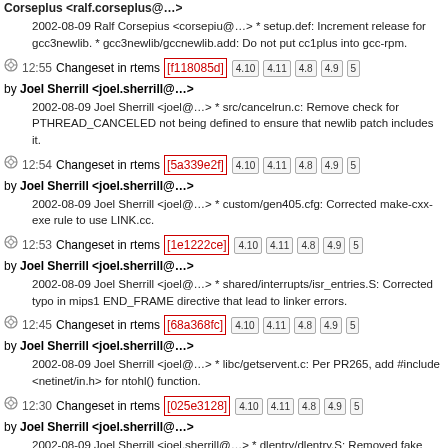Corseplus <ralf.corseplus@…>
2002-08-09 Ralf Corsepius <corsepiu@…> * setup.def: Increment release for gcc3newlib. * gcc3newlib/gccnewlib.add: Do not put cc1plus into gcc-rpm.
12:55 Changeset in rtems [f118085d] 4.10 4.11 4.8 4.9 5 by Joel Sherrill <joel.sherrill@…>
2002-08-09 Joel Sherrill <joel@…> * src/cancelrun.c: Remove check for PTHREAD_CANCELED not being defined to ensure that newlib patch includes it.
12:54 Changeset in rtems [5a339e2f] 4.10 4.11 4.8 4.9 5 by Joel Sherrill <joel.sherrill@…>
2002-08-09 Joel Sherrill <joel@…> * custom/gen405.cfg: Corrected make-cxx-exe rule to use LINK.cc.
12:53 Changeset in rtems [1e1222ce] 4.10 4.11 4.8 4.9 5 by Joel Sherrill <joel.sherrill@…>
2002-08-09 Joel Sherrill <joel@…> * shared/interrupts/isr_entries.S: Corrected typo in mips1 END_FRAME directive that lead to linker errors.
12:45 Changeset in rtems [68a368fc] 4.10 4.11 4.8 4.9 5 by Joel Sherrill <joel.sherrill@…>
2002-08-09 Joel Sherrill <joel@…> * libc/getservent.c: Per PR265, add #include <netinet/in.h> for ntohl() function.
12:30 Changeset in rtems [025e3128] 4.10 4.11 4.8 4.9 5 by Joel Sherrill <joel.sherrill@…>
2002-08-09 Joel Sherrill <joel.sherrill@…> * dlentry/dlentry.S: Removed fake eabi to avoid conflict with the real one provided by gcc. I don't know if this makes this BSP work for C++ but it at least lets simple programs link again.